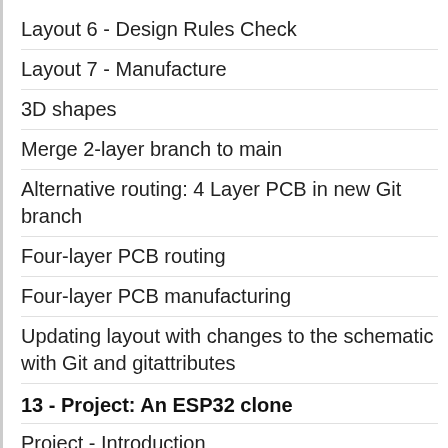Layout 6 - Design Rules Check
Layout 7 - Manufacture
3D shapes
Merge 2-layer branch to main
Alternative routing: 4 Layer PCB in new Git branch
Four-layer PCB routing
Four-layer PCB manufacturing
Updating layout with changes to the schematic with Git and gitattributes
13 - Project: An ESP32 clone
Project - Introduction
Schema 1 - New KiCad project and Schematic Se...